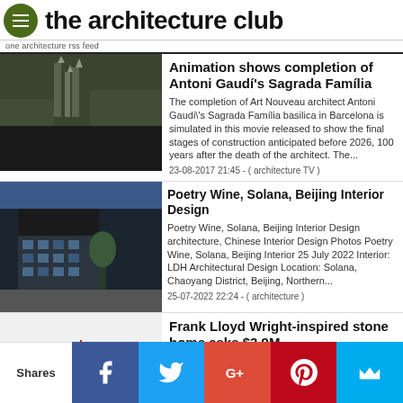the architecture club
one architecture rss feed
Animation shows completion of Antoni Gaudí's Sagrada Família
The completion of Art Nouveau architect Antoni Gaudi\'s Sagrada Família basilica in Barcelona is simulated in this movie released to show the final stages of construction anticipated before 2026, 100 years after the death of the architect. The...
23-08-2017 21:45 - ( architecture TV )
Poetry Wine, Solana, Beijing Interior Design
Poetry Wine, Solana, Beijing Interior Design architecture, Chinese Interior Design Photos Poetry Wine, Solana, Beijing Interior 25 July 2022 Interior: LDH Architectural Design Location: Solana, Chaoyang District, Beijing, Northern...
25-07-2022 22:24 - ( architecture )
Frank Lloyd Wright-inspired stone home asks $3.9M
Photos by Michael Hirsch courtesy of Kurfiss Sotheby?s International Realty in New Hope Located about an hour north of Philadelphia Not everyone can own a Frank Lloyd Wright-designed
Shares